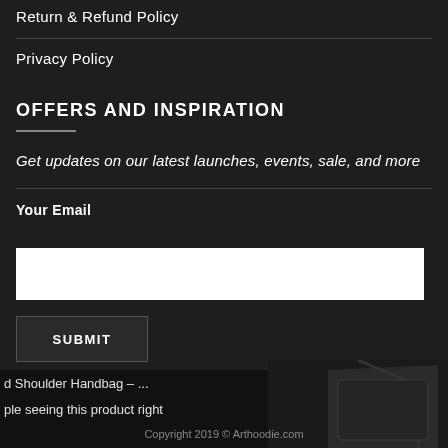Return & Refund Policy
Privacy Policy
OFFERS AND INSPIRATION
Get updates on our latest launches, events, sale, and more
Your Email
[Figure (other): White email input field]
[Figure (other): Submit button with dark background]
d Shoulder Handbag – ...
ple seeing this product right
Copyright 2019 © Arthoodie.com